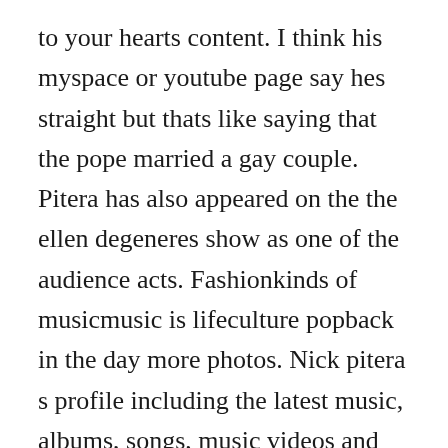to your hearts content. I think his myspace or youtube page say hes straight but thats like saying that the pope married a gay couple. Pitera has also appeared on the the ellen degeneres show as one of the audience acts. Fashionkinds of musicmusic is lifeculture popback in the day more photos. Nick pitera s profile including the latest music, albums, songs, music videos and more updates. Nicholas joseph pitera born march 7, 1986 is an american vocal artist who gained his. When you feel like love is never knockin, how bigs to make love it seems like